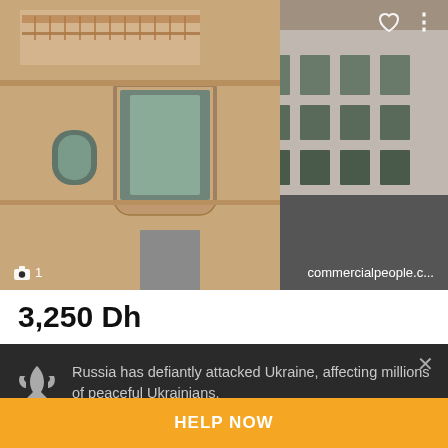[Figure (photo): Exterior photo of a multi-story building with Arabic architectural style, beige/tan facade, decorative balconies, and multiple windows. Bottom-left shows camera icon and '1', bottom-right shows 'commercialpeople.c...' watermark.]
3,250 Dh
Russia has defiantly attacked Ukraine, affecting millions of peaceful Ukrainians.
Please help by transferring funds to a special humanitarian account of the NBU.
HELP NOW